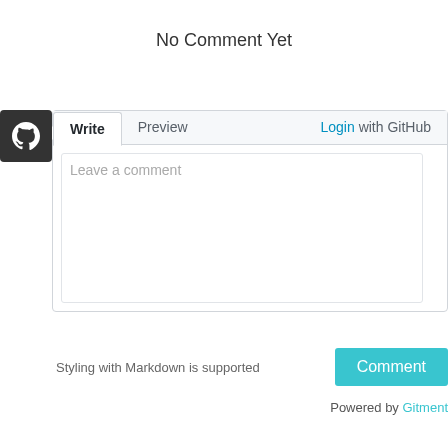No Comment Yet
[Figure (logo): GitHub logo — white octocat on dark gray/black rounded square background]
Write  Preview  Login with GitHub
Leave a comment
Styling with Markdown is supported
Comment
Powered by Gitment